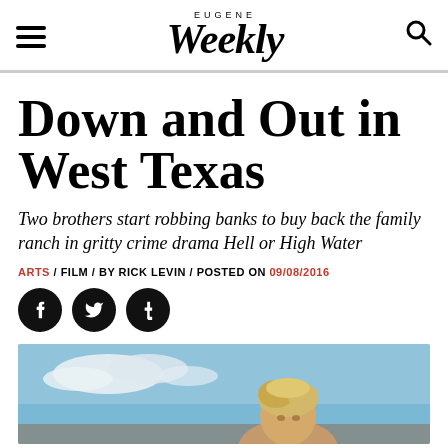EUGENE Weekly
Down and Out in West Texas
Two brothers start robbing banks to buy back the family ranch in gritty crime drama Hell or High Water
ARTS / FILM / BY RICK LEVIN / POSTED ON 09/08/2016
[Figure (other): Social sharing icons: Facebook, Twitter, Tumblr]
[Figure (photo): Partial photo of a person with blonde/light hair against a sky background, from the film Hell or High Water]